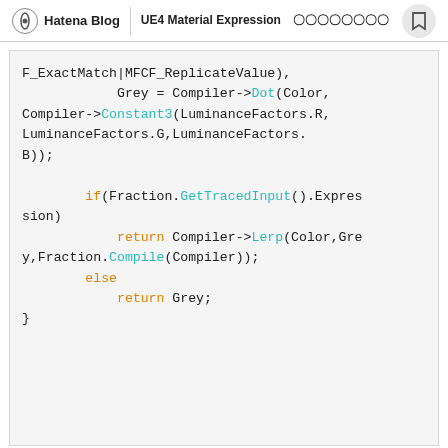Hatena Blog | UE4 Material Expression　〇〇〇〇〇〇〇〇
F_ExactMatch|MFCF_ReplicateValue),
            Grey = Compiler->Dot(Color,
Compiler->Constant3(LuminanceFactors.R,
LuminanceFactors.G,LuminanceFactors.
B));

        if(Fraction.GetTracedInput().Expression)
            return Compiler->Lerp(Color,Grey,Fraction.Compile(Compiler));
        else
            return Grey;
}